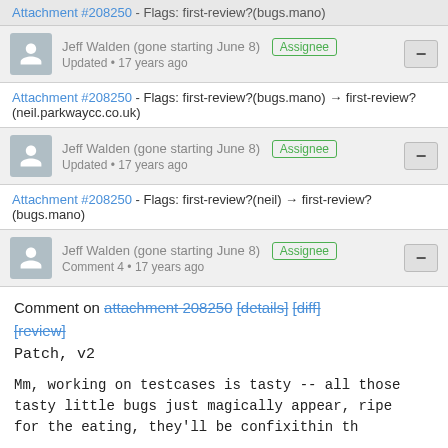Attachment #208250 - Flags: first-review?(bugs.mano)
Jeff Walden (gone starting June 8) Assignee
Updated • 17 years ago
Attachment #208250 - Flags: first-review?(bugs.mano) → first-review?(neil.parkwaycc.co.uk)
Jeff Walden (gone starting June 8) Assignee
Updated • 17 years ago
Attachment #208250 - Flags: first-review?(neil) → first-review?(bugs.mano)
Jeff Walden (gone starting June 8) Assignee
Comment 4 • 17 years ago
Comment on attachment 208250 [details] [diff] [review]
Patch, v2

Mm, working on testcases is tasty -- all those tasty little bugs just magically appear, ripe for the eating, they'll be confixithin th